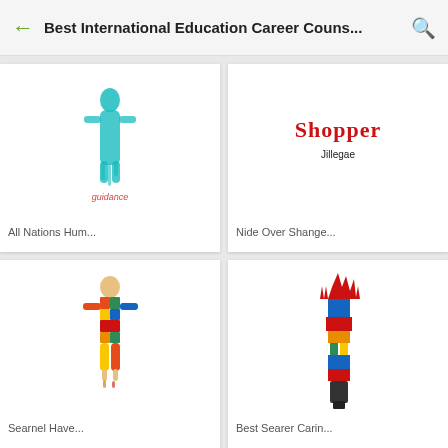Best International Education Career Couns...
[Figure (illustration): Colorful abstract human figure illustration with teal/blue dripping paint and pink text 'guidance' below]
All Nations Hum...
[Figure (illustration): Red stylized text 'Shopper' logo with black 'Jillegae' text below]
Nide Over Shange...
[Figure (illustration): Colorful abstract figure made of international flags/colors in orange, red, green, yellow, blue]
Searnel Have...
[Figure (illustration): Tall narrow abstract illustration with multicolored flag-like strips in blue, red, orange, green topped with spiky peaks and a dark base]
Best Searer Carin...